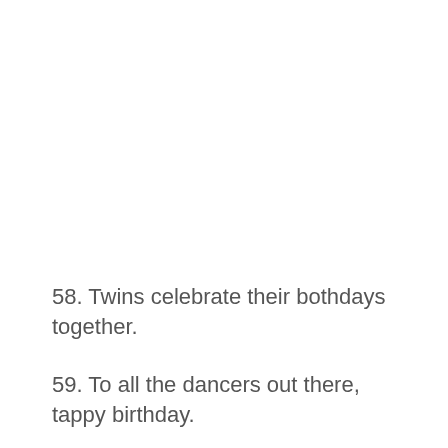58. Twins celebrate their bothdays together.
59. To all the dancers out there, tappy birthday.